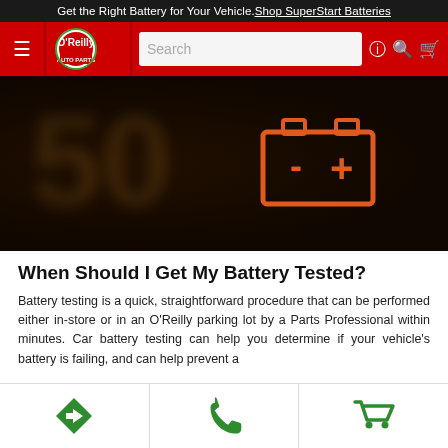Get the Right Battery for Your Vehicle. Shop SuperStart Batteries
[Figure (screenshot): O'Reilly Auto Parts navigation bar with hamburger menu, logo, search box, help icon, search icon, and cart icon]
[Figure (photo): Close-up of a car dashboard showing an orange battery warning light icon (battery symbol with minus and plus signs)]
When Should I Get My Battery Tested?
Battery testing is a quick, straightforward procedure that can be performed either in-store or in an O'Reilly parking lot by a Parts Professional within minutes. Car battery testing can help you determine if your vehicle's battery is failing, and can help prevent a
Navigation icons: directions, phone, cart